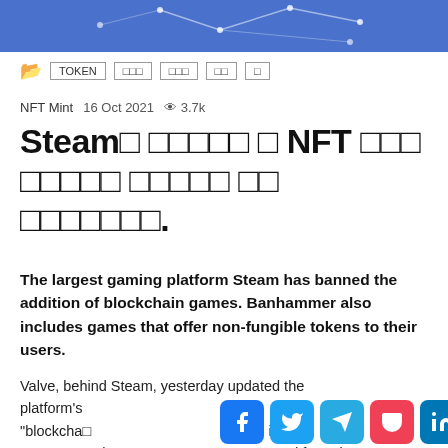[Figure (illustration): Blue banner header with network/blockchain dot-and-line graphic on blue background]
TOKEN | □□□ | □□□ | □□ | □
NFT Mint  16 Oct 2021  👁 3.7k
Steam이 블록체인 및 NFT 게임을 플랫폼에서 금지했습니다.
The largest gaming platform Steam has banned the addition of blockchain games. Banhammer also includes games that offer non-fungible tokens to their users.
Valve, behind Steam, yesterday updated the platform's rules with "blockchain" h "blockchain" igital currency exchange or NFTs" were removed from the
[Figure (infographic): Social sharing buttons row: Facebook, Twitter, Telegram, Pocket, LinkedIn, WhatsApp]